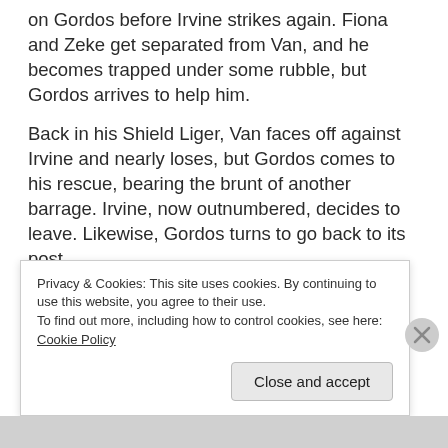on Gordos before Irvine strikes again. Fiona and Zeke get separated from Van, and he becomes trapped under some rubble, but Gordos arrives to help him.
Back in his Shield Liger, Van faces off against Irvine and nearly loses, but Gordos comes to his rescue, bearing the brunt of another barrage. Irvine, now outnumbered, decides to leave. Likewise, Gordos turns to go back to its post.
Privacy & Cookies: This site uses cookies. By continuing to use this website, you agree to their use. To find out more, including how to control cookies, see here: Cookie Policy
Close and accept